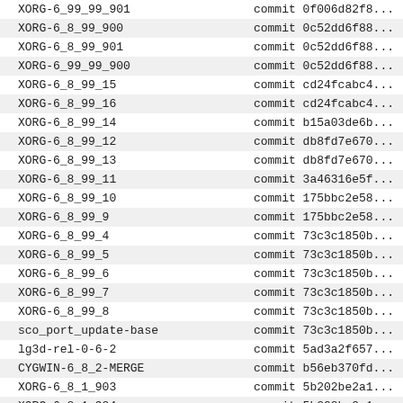| Tag | Commit |
| --- | --- |
| XORG-6_99_99_901 | commit 0f006d82f8... |
| XORG-6_8_99_900 | commit 0c52dd6f88... |
| XORG-6_8_99_901 | commit 0c52dd6f88... |
| XORG-6_99_99_900 | commit 0c52dd6f88... |
| XORG-6_8_99_15 | commit cd24fcabc4... |
| XORG-6_8_99_16 | commit cd24fcabc4... |
| XORG-6_8_99_14 | commit b15a03de6b... |
| XORG-6_8_99_12 | commit db8fd7e670... |
| XORG-6_8_99_13 | commit db8fd7e670... |
| XORG-6_8_99_11 | commit 3a46316e5f... |
| XORG-6_8_99_10 | commit 175bbc2e58... |
| XORG-6_8_99_9 | commit 175bbc2e58... |
| XORG-6_8_99_4 | commit 73c3c1850b... |
| XORG-6_8_99_5 | commit 73c3c1850b... |
| XORG-6_8_99_6 | commit 73c3c1850b... |
| XORG-6_8_99_7 | commit 73c3c1850b... |
| XORG-6_8_99_8 | commit 73c3c1850b... |
| sco_port_update-base | commit 73c3c1850b... |
| lg3d-rel-0-6-2 | commit 5ad3a2f657... |
| CYGWIN-6_8_2-MERGE | commit b56eb370fd... |
| XORG-6_8_1_903 | commit 5b202be2a1... |
| XORG-6_8_1_904 | commit 5b202be2a1... |
| XORG-6_8_2 | commit 5b202be2a1... |
| XORG-6_8_99_1 | commit dd695cb666... |
| XORG-6_8_99_2 | commit dd695cb666... |
| XORG-6_8_99_3 | commit dd695cb666... |